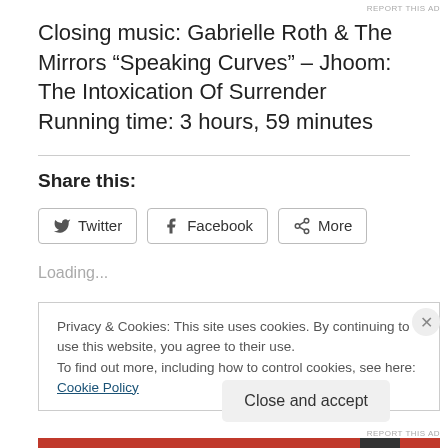REPORT THIS AD
Closing music: Gabrielle Roth & The Mirrors “Speaking Curves” – Jhoom: The Intoxication Of Surrender
Running time: 3 hours, 59 minutes
Share this:
Loading...
Privacy & Cookies: This site uses cookies. By continuing to use this website, you agree to their use.
To find out more, including how to control cookies, see here: Cookie Policy
REPORT THIS AD